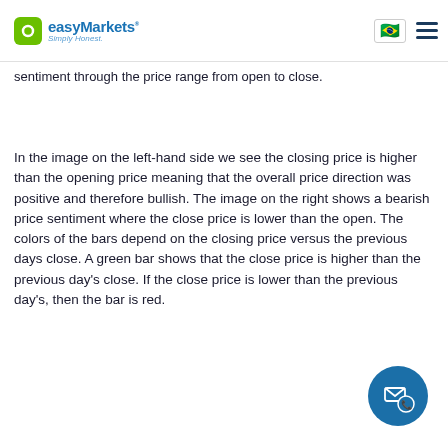easyMarkets Simply Honest.
sentiment through the price range from open to close.
In the image on the left-hand side we see the closing price is higher than the opening price meaning that the overall price direction was positive and therefore bullish. The image on the right shows a bearish price sentiment where the close price is lower than the open. The colors of the bars depend on the closing price versus the previous days close. A green bar shows that the close price is higher than the previous day's close. If the close price is lower than the previous day's, then the bar is red.
[Figure (other): Contact/support button with envelope and phone icon]